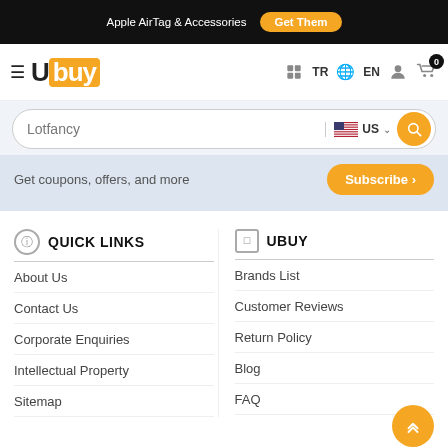Apple AirTag & Accessories  Get Them
[Figure (logo): Ubuy logo with hamburger menu and navigation icons: TR, EN globe, user, cart with badge 0]
Lotfancy  US
Get coupons, offers, and more  Subscribe ›
QUICK LINKS
UBUY
About Us
Brands List
Contact Us
Customer Reviews
Corporate Enquiries
Return Policy
Intellectual Property
Blog
Sitemap
FAQ